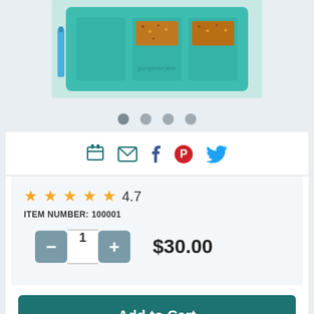[Figure (photo): Product photo showing a teal/turquoise sectioned food tray with granola bars, top-down view on light blue background]
● ● ● ●
[Figure (infographic): Social share icons: print, email, facebook, pinterest, twitter]
★★★★★ 4.7
ITEM NUMBER: 100001
- 1 +   $30.00
Add to Cart
My Wish List